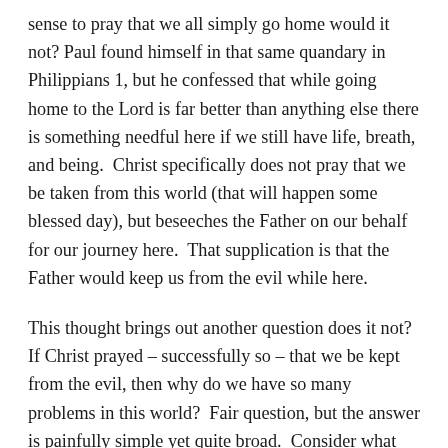sense to pray that we all simply go home would it not? Paul found himself in that same quandary in Philippians 1, but he confessed that while going home to the Lord is far better than anything else there is something needful here if we still have life, breath, and being.  Christ specifically does not pray that we be taken from this world (that will happen some blessed day), but beseeches the Father on our behalf for our journey here.  That supplication is that the Father would keep us from the evil while here.
This thought brings out another question does it not?  If Christ prayed – successfully so – that we be kept from the evil, then why do we have so many problems in this world?  Fair question, but the answer is painfully simple yet quite broad.  Consider what the world would be like should God not have any daily interactions and providential dealings with us?  How would our health be?  How would our spirit be?  How would those around us be?  Very importantly, how would the workers of iniquity – God's enemies – be?  Truly,